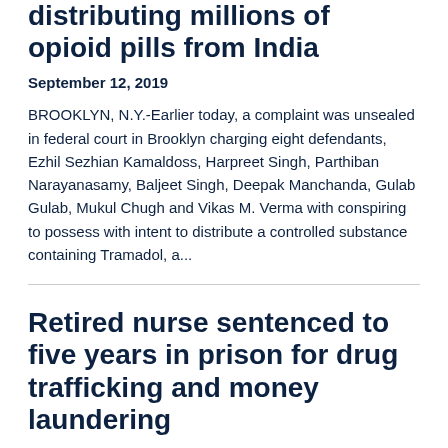distributing millions of opioid pills from India
September 12, 2019
BROOKLYN, N.Y.-Earlier today, a complaint was unsealed in federal court in Brooklyn charging eight defendants, Ezhil Sezhian Kamaldoss, Harpreet Singh, Parthiban Narayanasamy, Baljeet Singh, Deepak Manchanda, Gulab Gulab, Mukul Chugh and Vikas M. Verma with conspiring to possess with intent to distribute a controlled substance containing Tramadol, a...
Retired nurse sentenced to five years in prison for drug trafficking and money laundering